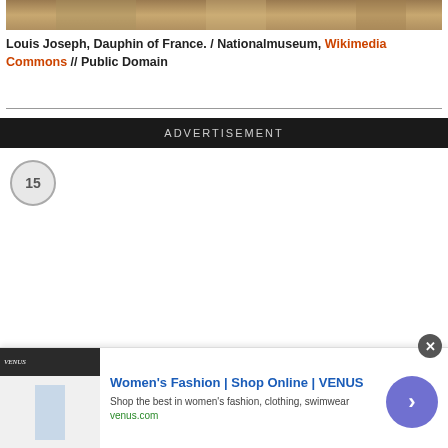[Figure (photo): Partial view of a painting — bottom edge visible, warm golden-brown tones]
Louis Joseph, Dauphin of France. / Nationalmuseum, Wikimedia Commons // Public Domain
ADVERTISEMENT
[Figure (infographic): Circle with number 15 inside, grey outline]
[Figure (screenshot): Advertisement banner for VENUS women's fashion. Shows: Women's Fashion | Shop Online | VENUS, Shop the best in women's fashion, clothing, swimwear, venus.com]